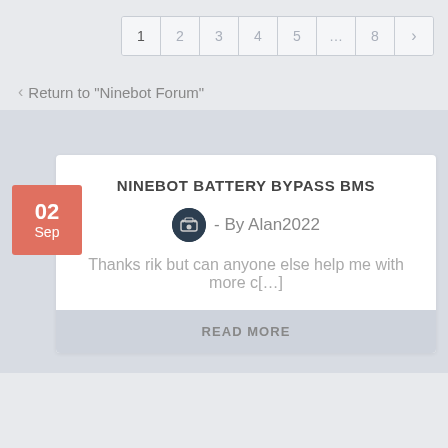Pagination: 1 2 3 4 5 ... 8 >
< Return to “Ninebot Forum”
NINEBOT BATTERY BYPASS BMS
- By Alan2022
Thanks rik but can anyone else help me with more c[...]
READ MORE